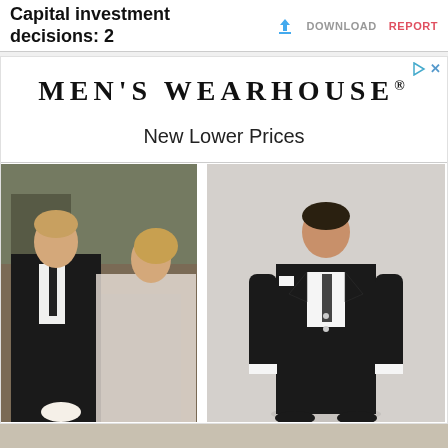Capital investment decisions: 2   DOWNLOAD   REPORT
[Figure (illustration): Men's Wearhouse advertisement showing brand name, 'New Lower Prices' tagline, two photos: a man in black tuxedo with a woman in a wedding dress at an outdoor setting, and a young boy in a black suit on a light background.]